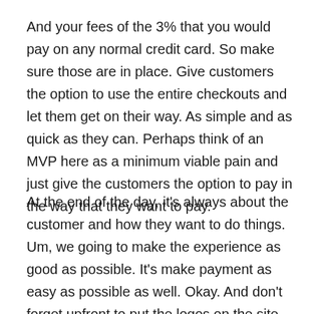And your fees of the 3% that you would pay on any normal credit card. So make sure those are in place. Give customers the option to use the entire checkouts and let them get on their way. As simple and as quick as they can. Perhaps think of an MVP here as a minimum viable pain and just give the customers the option to pay in the way that they want to pay.
At the end of the day, it's always about the customer and how they want to do things. Um, we going to make the experience as good as possible. It's make payment as easy as possible as well. Okay. And don't forget upfront to put the logos on the site of the various ways to pay. Let